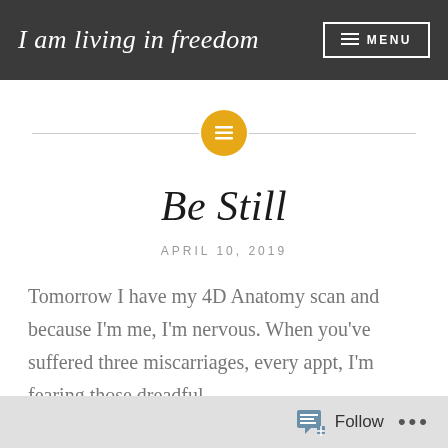I am living in freedom
[Figure (other): Decorative horizontal divider with a gold/yellow circle icon containing a list/lines symbol in the center]
Be Still
APRIL 10, 2019
Tomorrow I have my 4D Anatomy scan and because I'm me, I'm nervous. When you've suffered three miscarriages, every appt, I'm fearing those dreadful
Follow ...